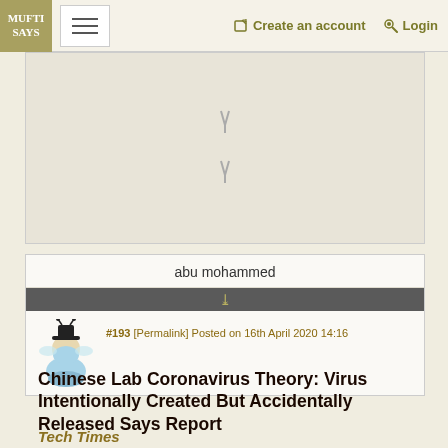MUFTI SAYS | Create an account | Login
[Figure (map): Map area with two downward arrows, partially visible]
abu mohammed
❮❮
#193 [Permalink] Posted on 16th April 2020 14:16
Chinese Lab Coronavirus Theory: Virus Intentionally Created But Accidentally Released Says Report
Tech Times